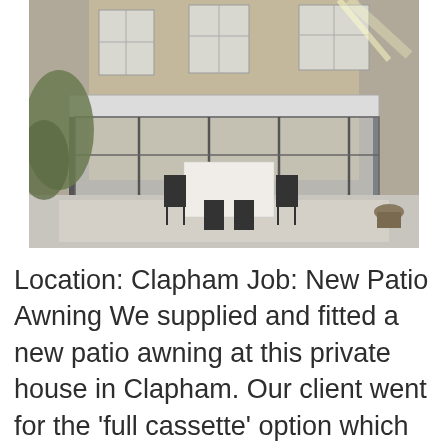[Figure (photo): Photograph of a patio awning installation at a private house in Clapham. A large retractable awning with a white/light grey canopy extends over a patio area with a dining table and chairs set up underneath. The structure has a glass/metal frame. The background shows a brick townhouse building with sash windows and some garden greenery.]
Location: Clapham Job: New Patio Awning We supplied and fitted a new patio awning at this private house in Clapham. Our client went for the 'full cassette' option which means the awning retracts into a boxed unit which protects the cover and